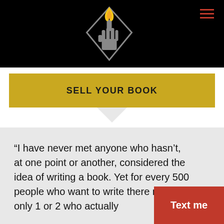SELL YOUR BOOK
[Figure (logo): A hand holding a torch with a yellow flame inside a diamond/rhombus shape outline, on a black background. Website logo.]
SELL YOUR BOOK
“I have never met anyone who hasn’t, at one point or another, considered the idea of writing a book. Yet for every 500 people who want to write there might be only 1 or 2 who actually